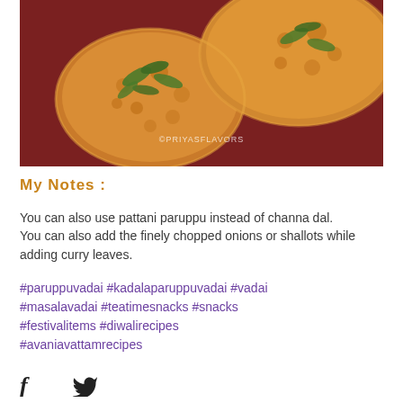[Figure (photo): Close-up photo of paruppu vadai (lentil fritters) on a dark red plate, topped with curry leaves, with watermark ©PRIYASFLAVORS]
My Notes :
You can also use pattani paruppu instead of channa dal.
You can also add the finely chopped onions or shallots while adding curry leaves.
#paruppuvadai #kadalaparuppuvadai #vadai #masalavadai #teatimesnacks #snacks #festivalitems #diwalirecipes #avaniavattamrecipes
[Figure (other): Social media icons: Facebook (f) and Twitter (bird)]